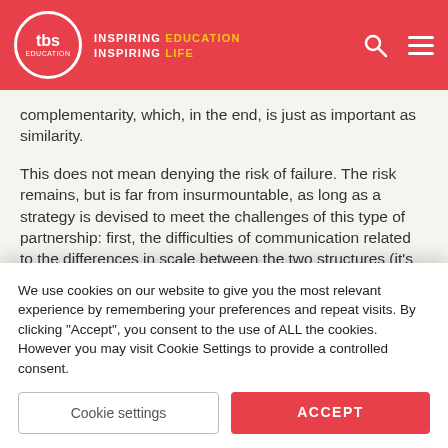TBS Education — INSPIRING EDUCATION INSPIRING LIFE
complementarity, which, in the end, is just as important as similarity.
This does not mean denying the risk of failure. The risk remains, but is far from insurmountable, as long as a strategy is devised to meet the challenges of this type of partnership: first, the difficulties of communication related to the differences in scale between the two structures (it's rare for the head of an SME to have direct access to the Managing Director of a large company); and secondly, the differences in corporate cultures, habits and ways of working.
We use cookies on our website to give you the most relevant experience by remembering your preferences and repeat visits. By clicking "Accept", you consent to the use of ALL the cookies. However you may visit Cookie Settings to provide a controlled consent.